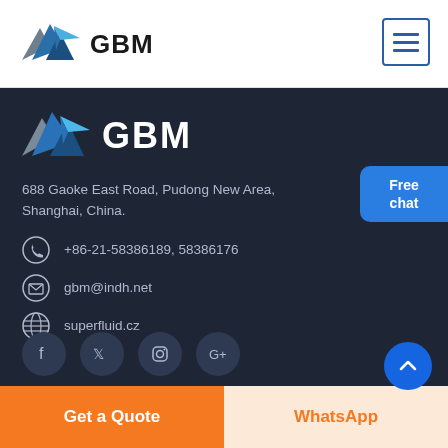[Figure (logo): GBM logo with mountain/paper-plane graphic and bold GBM text in header]
[Figure (logo): GBM logo large version in dark footer, mountain/paper-plane graphic with bold white GBM text]
688 Gaoke East Road, Pudong New Area, Shanghai, China.
+86-21-58386189, 58386176
gbm@indh.net
superfluid.cz
Free chat
Get a Quote
WhatsApp